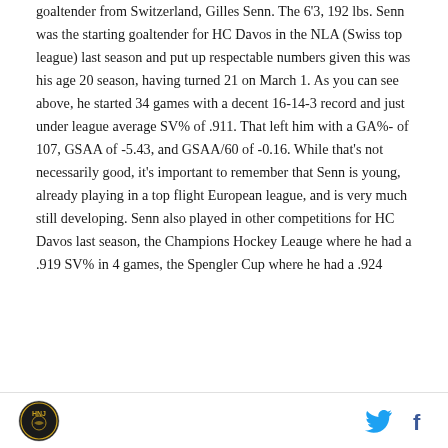goaltender from Switzerland, Gilles Senn. The 6'3, 192 lbs. Senn was the starting goaltender for HC Davos in the NLA (Swiss top league) last season and put up respectable numbers given this was his age 20 season, having turned 21 on March 1. As you can see above, he started 34 games with a decent 16-14-3 record and just under league average SV% of .911. That left him with a GA%- of 107, GSAA of -5.43, and GSAA/60 of -0.16. While that's not necessarily good, it's important to remember that Senn is young, already playing in a top flight European league, and is very much still developing. Senn also played in other competitions for HC Davos last season, the Champions Hockey Leauge where he had a .919 SV% in 4 games, the Spengler Cup where he had a .924
[logo] [twitter] [facebook]